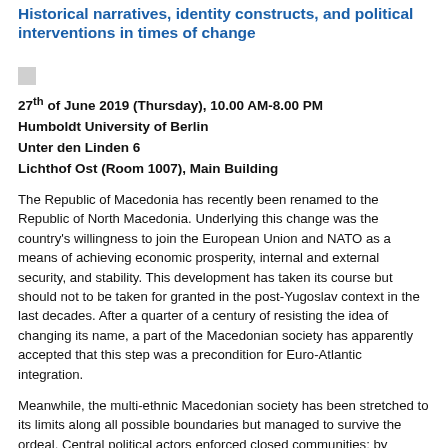Historical narratives, identity constructs, and political interventions in times of change
27th of June 2019 (Thursday), 10.00 AM-8.00 PM
Humboldt University of Berlin
Unter den Linden 6
Lichthof Ost (Room 1007), Main Building
The Republic of Macedonia has recently been renamed to the Republic of North Macedonia. Underlying this change was the country's willingness to join the European Union and NATO as a means of achieving economic prosperity, internal and external security, and stability. This development has taken its course but should not to be taken for granted in the post-Yugoslav context in the last decades. After a quarter of a century of resisting the idea of changing its name, a part of the Macedonian society has apparently accepted that this step was a precondition for Euro-Atlantic integration.
Meanwhile, the multi-ethnic Macedonian society has been stretched to its limits along all possible boundaries but managed to survive the ordeal. Central political actors enforced closed communities; by drawing boundaries they aimed to achieve a